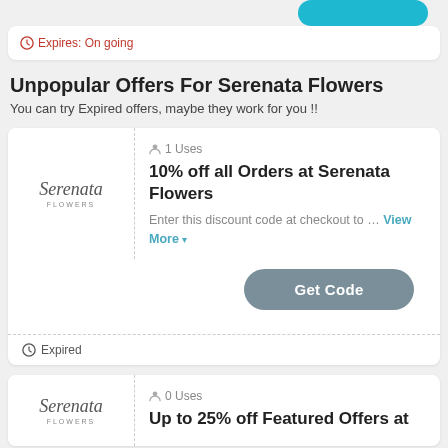Expires: On going
Unpopular Offers For Serenata Flowers
You can try Expired offers, maybe they work for you !!
[Figure (logo): Serenata Flowers logo in italic script]
1 Uses
10% off all Orders at Serenata Flowers
Enter this discount code at checkout to … View More
Get Code
Expired
[Figure (logo): Serenata Flowers logo in italic script]
0 Uses
Up to 25% off Featured Offers at